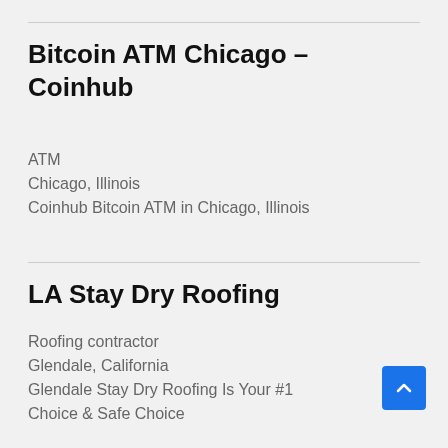Bitcoin ATM Chicago – Coinhub
ATM
Chicago, Illinois
Coinhub Bitcoin ATM in Chicago, Illinois
LA Stay Dry Roofing
Roofing contractor
Glendale, California
Glendale Stay Dry Roofing Is Your #1 Choice & Safe Choice